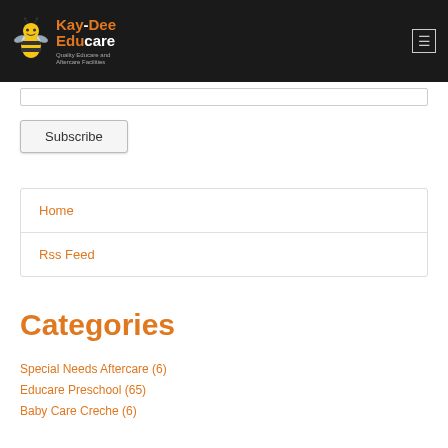Kay-Dee Educare - Quality Educare and Aftercare Facilities
Subscribe
Home
Rss Feed
Categories
Special Needs Aftercare (6)
Educare Preschool (65)
Baby Care Creche (6)